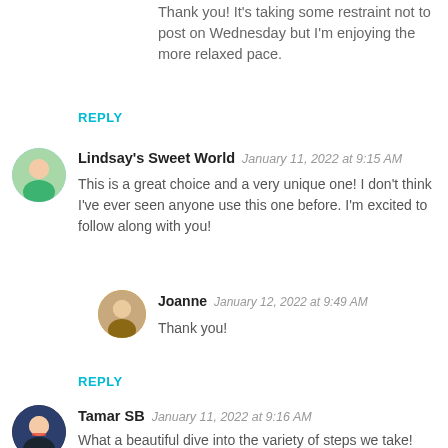Thank you! It's taking some restraint not to post on Wednesday but I'm enjoying the more relaxed pace.
REPLY
[Figure (photo): Circular avatar photo of Lindsay]
Lindsay's Sweet World  January 11, 2022 at 9:15 AM
This is a great choice and a very unique one! I don't think I've ever seen anyone use this one before. I'm excited to follow along with you!
[Figure (photo): Circular avatar photo of Joanne]
Joanne  January 12, 2022 at 9:49 AM
Thank you!
REPLY
[Figure (photo): Circular avatar photo of Tamar SB]
Tamar SB  January 11, 2022 at 9:16 AM
What a beautiful dive into the variety of steps we take!
[Figure (photo): Circular avatar photo of Joanne (partial)]
Joanne  January 12, 2022 at 9:52 AM